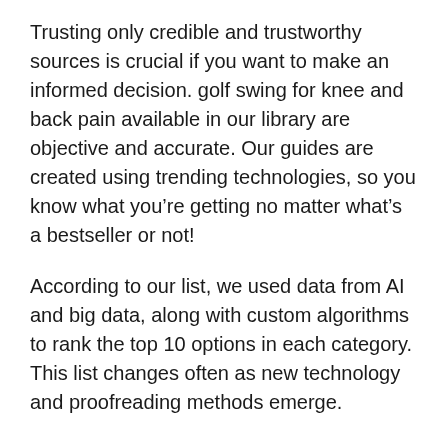Trusting only credible and trustworthy sources is crucial if you want to make an informed decision. golf swing for knee and back pain available in our library are objective and accurate. Our guides are created using trending technologies, so you know what you’re getting no matter what’s a bestseller or not!
According to our list, we used data from AI and big data, along with custom algorithms to rank the top 10 options in each category. This list changes often as new technology and proofreading methods emerge.
See also  Top 10 best swing for groovepool ableton in 2022